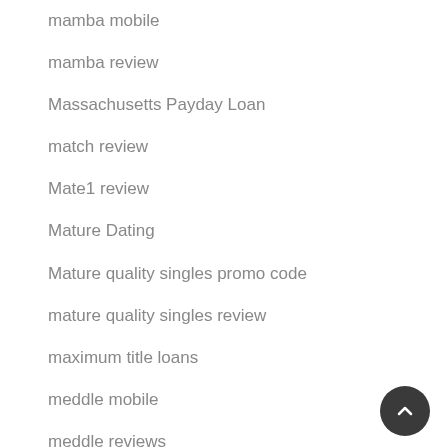mamba mobile
mamba review
Massachusetts Payday Loan
match review
Mate1 review
Mature Dating
Mature quality singles promo code
mature quality singles review
maximum title loans
meddle mobile
meddle reviews
Meet An Inmate inscription